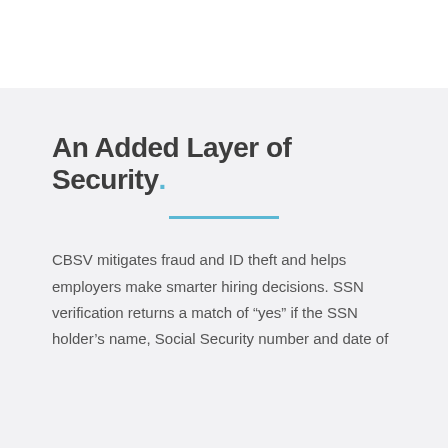An Added Layer of Security.
CBSV mitigates fraud and ID theft and helps employers make smarter hiring decisions. SSN verification returns a match of “yes” if the SSN holder’s name, Social Security number and date of